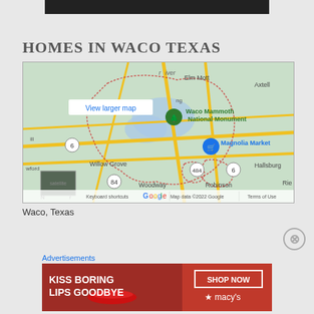[Figure (other): Dark banner at top of page]
HOMES IN WACO TEXAS
[Figure (map): Google Map showing Waco, Texas area with landmarks including Waco Mammoth National Monument, Magnolia Market, Willow Grove, Woodway, Robinson, Elm Mott, Axtell, Hallsburg. Shows roads, waterways, and city boundaries. Includes 'View larger map' link, Google logo, keyboard shortcuts, Map data ©2022 Google, and Terms of Use.]
Waco, Texas
Advertisements
[Figure (photo): Macy's advertisement banner with red background showing a woman with red lips, text 'KISS BORING LIPS GOODBYE', 'SHOP NOW' button, and Macy's star logo]